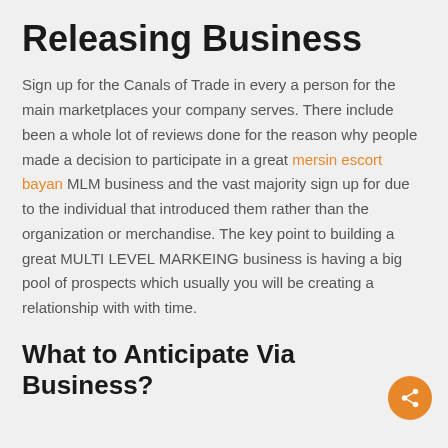Releasing Business
Sign up for the Canals of Trade in every a person for the main marketplaces your company serves. There include been a whole lot of reviews done for the reason why people made a decision to participate in a great mersin escort bayan MLM business and the vast majority sign up for due to the individual that introduced them rather than the organization or merchandise. The key point to building a great MULTI LEVEL MARKEING business is having a big pool of prospects which usually you will be creating a relationship with with time.
What to Anticipate Via Business?